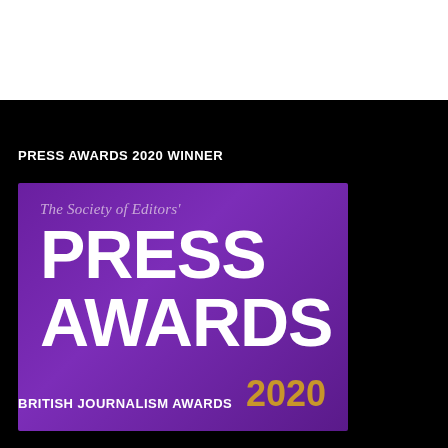PRESS AWARDS 2020 WINNER
[Figure (logo): The Society of Editors' Press Awards 2020 logo on a purple gradient background. Large white bold text reads PRESS AWARDS, with gold text showing 2020.]
BRITISH JOURNALISM AWARDS